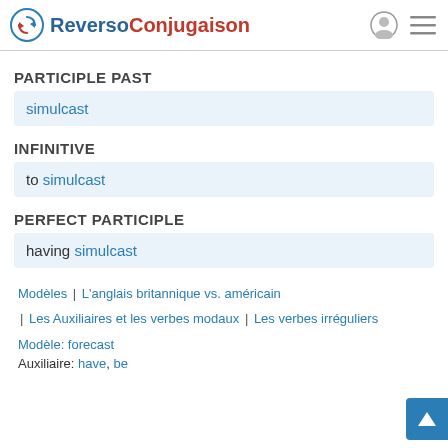Reverso Conjugaison
PARTICIPLE PAST
simulcast
INFINITIVE
to simulcast
PERFECT PARTICIPLE
having simulcast
Modèles | L'anglais britannique vs. américain | Les Auxiliaires et les verbes modaux | Les verbes irréguliers
Modèle: forecast
Auxiliaire: have, be